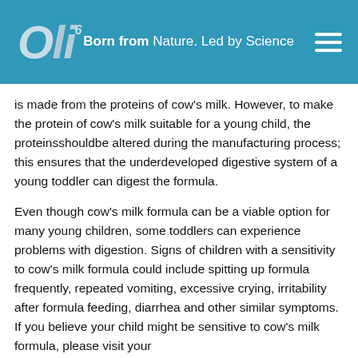Oli6 — Born from Nature. Led by Science
is made from the proteins of cow's milk. However, to make the protein of cow's milk suitable for a young child, the proteinsshouldbe altered during the manufacturing process; this ensures that the underdeveloped digestive system of a young toddler can digest the formula.
Even though cow's milk formula can be a viable option for many young children, some toddlers can experience problems with digestion. Signs of children with a sensitivity to cow's milk formula could include spitting up formula frequently, repeated vomiting, excessive crying, irritability after formula feeding, diarrhea and other similar symptoms. If you believe your child might be sensitive to cow's milk formula, please visit your